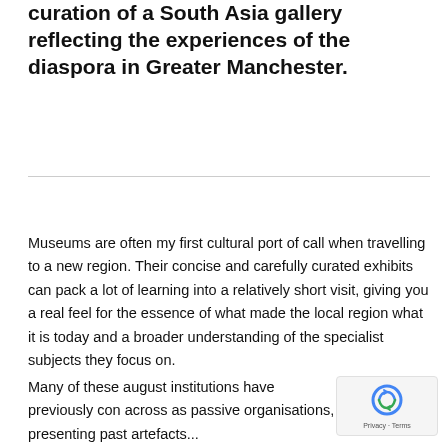curation of a South Asia gallery reflecting the experiences of the diaspora in Greater Manchester.
Museums are often my first cultural port of call when travelling to a new region. Their concise and carefully curated exhibits can pack a lot of learning into a relatively short visit, giving you a real feel for the essence of what made the local region what it is today and a broader understanding of the specialist subjects they focus on.
Many of these august institutions have previously come across as passive organisations, presenting past artefacts...